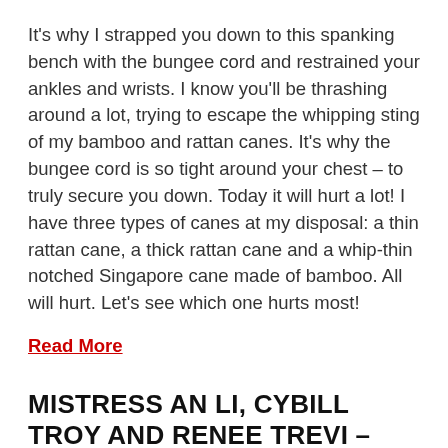It's why I strapped you down to this spanking bench with the bungee cord and restrained your ankles and wrists. I know you'll be thrashing around a lot, trying to escape the whipping sting of my bamboo and rattan canes. It's why the bungee cord is so tight around your chest – to truly secure you down. Today it will hurt a lot! I have three types of canes at my disposal: a thin rattan cane, a thick rattan cane and a whip-thin notched Singapore cane made of bamboo. All will hurt. Let's see which one hurts most!
Read More
MISTRESS AN LI, CYBILL TROY AND RENEE TREVI – ENDLESS CANE TORMENT